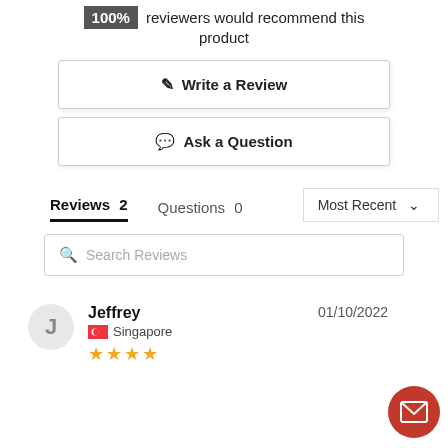100% reviewers would recommend this product
✎ Write a Review
💬 Ask a Question
Reviews 2    Questions 0
Most Recent
Search Reviews
Jeffrey  01/10/2022  Singapore  ★★★★
[Figure (other): Red circular email/message icon button (FAB)]